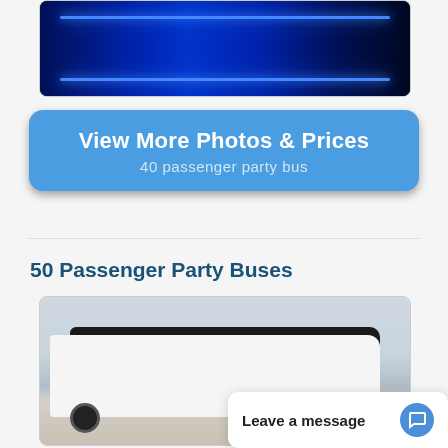[Figure (photo): Interior of a party bus with blue neon LED lighting along the seats and ceiling, dark atmosphere]
View More Photos & Prices
40 passenger party bus
50 Passenger Party Buses
[Figure (photo): Exterior side view of a large white and black 50-passenger party bus coach parked outdoors]
Leave a message